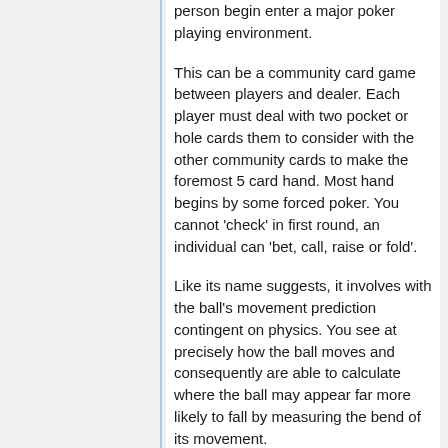person begin enter a major poker playing environment.
This can be a community card game between players and dealer. Each player must deal with two pocket or hole cards them to consider with the other community cards to make the foremost 5 card hand. Most hand begins by some forced poker. You cannot 'check' in first round, an individual can 'bet, call, raise or fold'.
Like its name suggests, it involves with the ball's movement prediction contingent on physics. You see at precisely how the ball moves and consequently are able to calculate where the ball may appear far more likely to fall by measuring the bend of its movement.